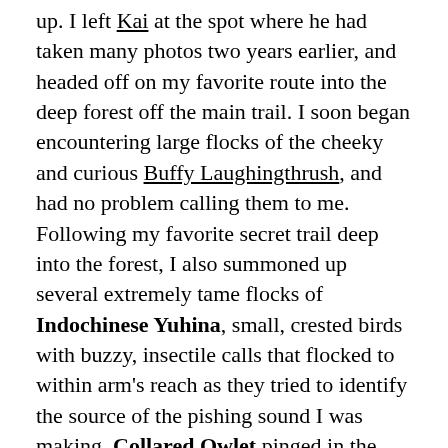up. I left Kai at the spot where he had taken many photos two years earlier, and headed off on my favorite route into the deep forest off the main trail. I soon began encountering large flocks of the cheeky and curious Buffy Laughingthrush, and had no problem calling them to me. Following my favorite secret trail deep into the forest, I also summoned up several extremely tame flocks of Indochinese Yuhina, small, crested birds with buzzy, insectile calls that flocked to within arm's reach as they tried to identify the source of the pishing sound I was making. Collared Owlet pinged in the foliage, but, as usual, I was unable to catch even a glimpse of one (although we spotted one out in the open along the road the day before). Grey Treepie and Huet's Fulvetta were also in evidence. I recorded Great Spotted Woodpecker, Grey-headed Woodpecker, and Grey-capped Pygmy Woodpecker, but no piculets. As always, it was a